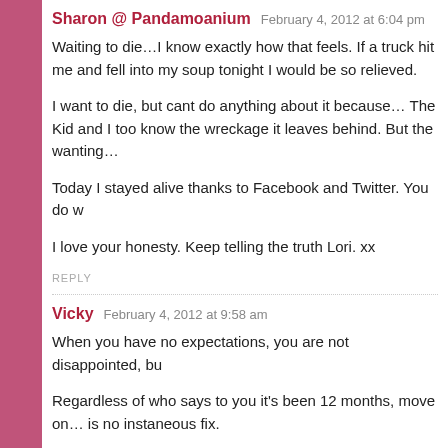Sharon @ Pandamoanium  February 4, 2012 at 6:04 pm
Waiting to die…I know exactly how that feels. If a truck hit me and fell into my soup tonight I would be so relieved.

I want to die, but cant do anything about it because… The Kid and I too know the wreckage it leaves behind. But the wanting…

Today I stayed alive thanks to Facebook and Twitter. You do w

I love your honesty. Keep telling the truth Lori. xx
REPLY
Vicky  February 4, 2012 at 9:58 am
When you have no expectations, you are not disappointed, bu

Regardless of who says to you it's been 12 months, move on… is no instaneous fix.